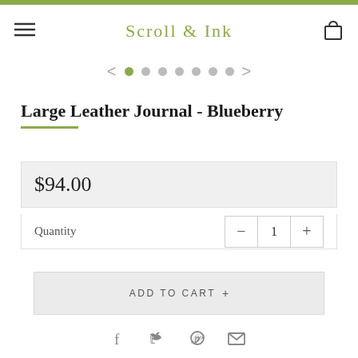Scroll & Ink
Large Leather Journal - Blueberry
$94.00
Quantity 1
ADD TO CART +